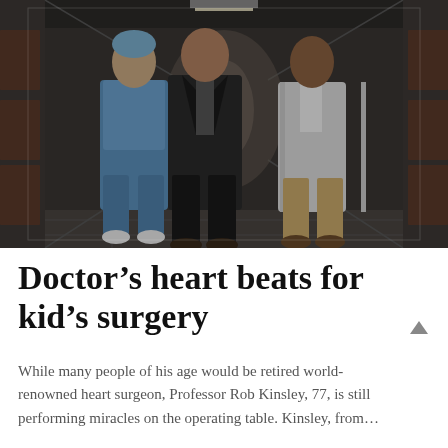[Figure (photo): Three medical professionals — one in blue scrubs, one in a dark blazer, one in a white coat — walking down a hospital corridor toward the camera]
Doctor's heart beats for kid's surgery
While many people of his age would be retired world-renowned heart surgeon, Professor Rob Kinsley, 77, is still performing miracles on the operating table. Kinsley, from...